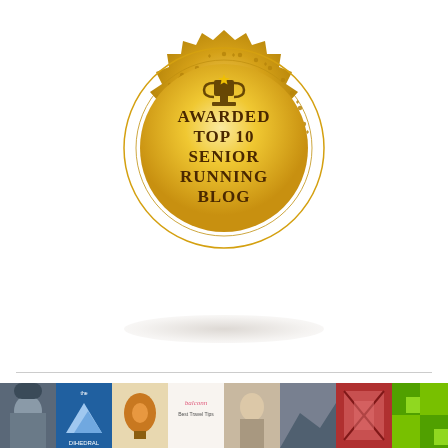[Figure (illustration): Gold award badge/seal with scalloped edges and star border ring. Contains a trophy icon at top and text reading 'AWARDED TOP 10 SENIOR RUNNING BLOG' in brown serif letters on gold background. Shadow below badge.]
[Figure (photo): A horizontal strip of small thumbnail images/blog preview photos at the bottom of the page, showing various scenes including people, logos, travel imagery, and graphic patterns.]